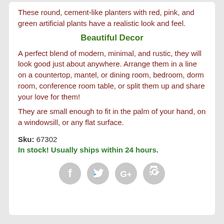These round, cement-like planters with red, pink, and green artificial plants have a realistic look and feel.
Beautiful Decor
A perfect blend of modern, minimal, and rustic, they will look good just about anywhere. Arrange them in a line on a countertop, mantel, or dining room, bedroom, dorm room, conference room table, or split them up and share your love for them!
They are small enough to fit in the palm of your hand, on a windowsill, or any flat surface.
Sku: 67302
In stock! Usually ships within 24 hours.
[Figure (infographic): Four circular social media share icons: Facebook (f), Twitter (bird), Google+ (G+), Pinterest (p) — all in light grey.]